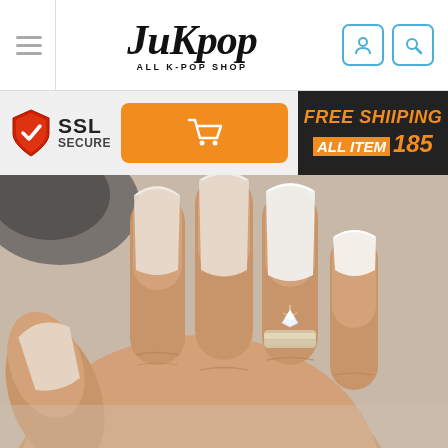JuKpop ALL K-POP SHOP
[Figure (logo): JuKpop ALL K-POP SHOP logo with stylized italic text]
[Figure (infographic): SSL Secure badge, orange shopping cart button, and FREE SHIIPING ALL ITEM 185 banner]
[Figure (photo): Close-up photo of a woman's hand with long natural coffin-shaped nails and a diamond ring]